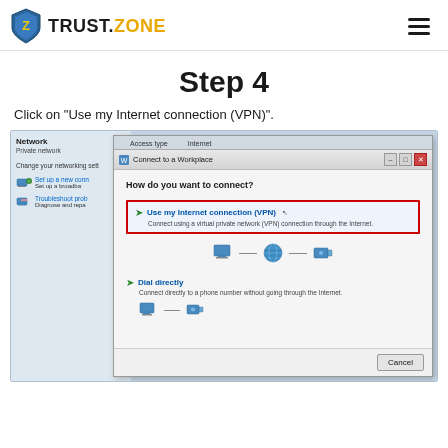TRUST.ZONE
Step 4
Click on "Use my Internet connection (VPN)".
[Figure (screenshot): Windows 7/8 Network and Sharing Center screenshot showing the 'Connect to a Workplace' dialog with 'Use my Internet connection (VPN)' option highlighted in a red rectangle border. The option shows a green arrow, connection icons (computer, globe, network), and below is a 'Dial directly' option with a Cancel button at the bottom.]